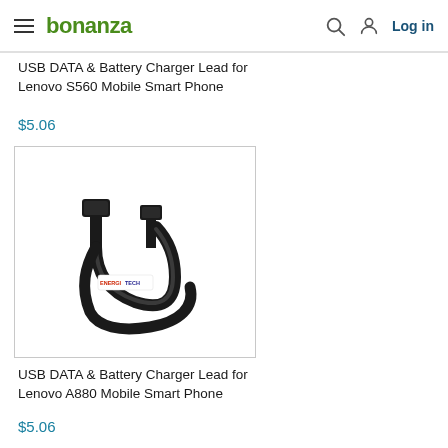bonanza | Log in
USB DATA & Battery Charger Lead for Lenovo S560 Mobile Smart Phone
$5.06
[Figure (photo): Black USB to Micro-USB cable coiled on white background with ENERGITECH watermark label]
USB DATA & Battery Charger Lead for Lenovo A880 Mobile Smart Phone
$5.06